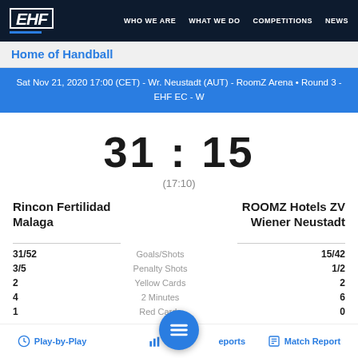EHF | WHO WE ARE | WHAT WE DO | COMPETITIONS | NEWS
Home of Handball
Sat Nov 21, 2020 17:00 (CET) - Wr. Neustadt (AUT) - RoomZ Arena • Round 3 - EHF EC - W
31 : 15
(17:10)
Rincon Fertilidad Malaga
ROOMZ Hotels ZV Wiener Neustadt
|  | Goals/Shots |  |
| --- | --- | --- |
| 31/52 | Goals/Shots | 15/42 |
| 3/5 | Penalty Shots | 1/2 |
| 2 | Yellow Cards | 2 |
| 4 | 2 Minutes | 6 |
| 1 | Red Cards | 0 |
Play-by-Play | Statistical Reports | Match Report